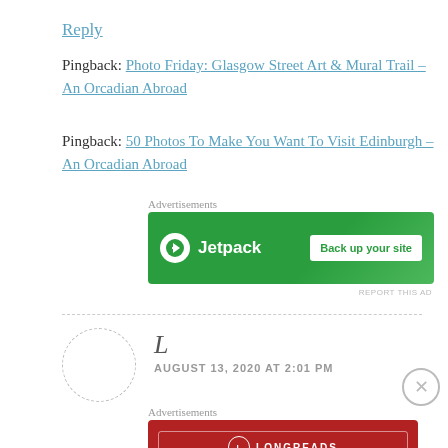Reply
Pingback: Photo Friday: Glasgow Street Art & Mural Trail – An Orcadian Abroad
Pingback: 50 Photos To Make You Want To Visit Edinburgh – An Orcadian Abroad
Advertisements
[Figure (other): Jetpack advertisement banner: green background with Jetpack logo and 'Back up your site' button]
REPORT THIS AD
L
AUGUST 13, 2020 AT 2:01 PM
Advertisements
[Figure (other): Longreads advertisement: red background with Longreads logo and tagline 'The best stories on the web — ours, and everyone else's.']
REPORT THIS AD